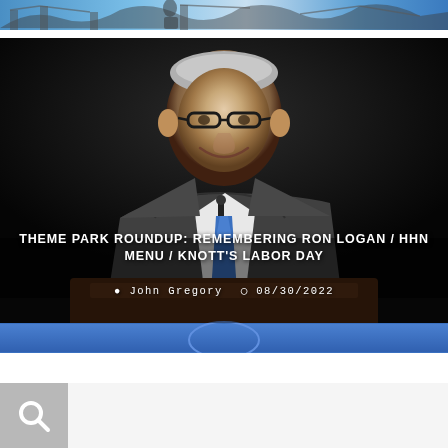[Figure (photo): Top banner image showing roller coaster or bridge structure with blue/teal tones]
[Figure (photo): Photo of an older man with glasses in a suit and blue tie, speaking at a dark podium, with overlaid white bold text title and author/date metadata]
THEME PARK ROUNDUP: REMEMBERING RON LOGAN / HHN MENU / KNOTT'S LABOR DAY
John Gregory  08/30/2022
[Figure (other): Search bar with magnifying glass icon on grey background]